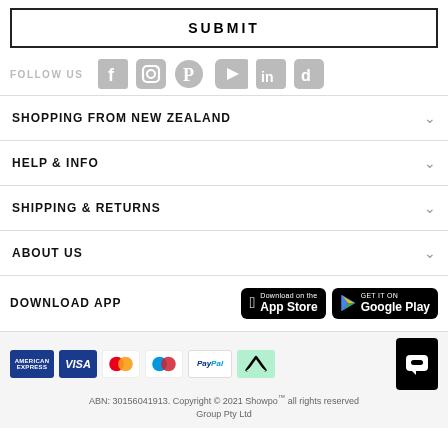SUBMIT
FOLLOW US
[Figure (infographic): Social media icons: Facebook, Instagram, Pinterest, YouTube, LinkedIn, TikTok]
SHOPPING FROM NEW ZEALAND
HELP & INFO
SHIPPING & RETURNS
ABOUT US
DOWNLOAD APP
[Figure (logo): Download on the App Store button (Apple)]
[Figure (logo): GET IT ON Google Play button]
[Figure (infographic): Payment method icons: American Express, Visa, Mastercard, Maestro, PayPal, Afterpay, Chat icon]
ABN: 30156041913. Copyright © 2021 Showpo™ all rights reserved Group Pty Ltd